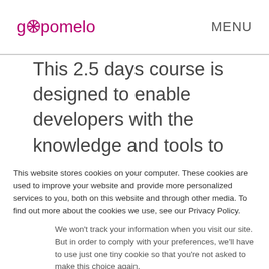[Figure (logo): gopomelo logo with pink snowflake/asterisk icon between 'go' and 'omelo', pink color]
MENU
This 2.5 days course is designed to enable developers with the knowledge and tools to begin developing Google App Engine applications that are easy to
This website stores cookies on your computer. These cookies are used to improve your website and provide more personalized services to you, both on this website and through other media. To find out more about the cookies we use, see our Privacy Policy.
We won't track your information when you visit our site. But in order to comply with your preferences, we'll have to use just one tiny cookie so that you're not asked to make this choice again.
Cookie settings  Accept  Decline